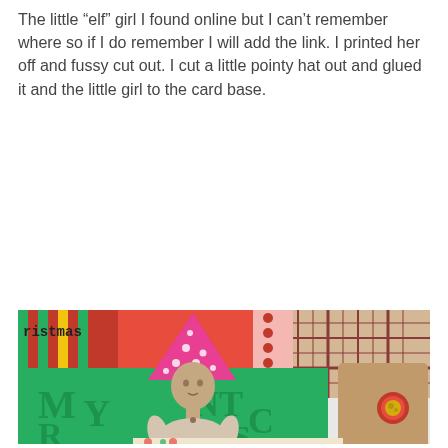The little “elf” girl I found online but I can’t remember where so if I do remember I will add the link. I printed her off and fussy cut out. I cut a little pointy hat out and glued it and the little girl to the card base.
[Figure (photo): A handmade Christmas scrapbook card featuring a vintage sepia-toned photo of a young girl with a pink polka-dot pointed elf hat cut out and glued on. The card has green embossed paper, red and green patterned papers, a kraft tag, and a red metallic button embellishment. The word 'ristmas' is partially visible in the upper left.]